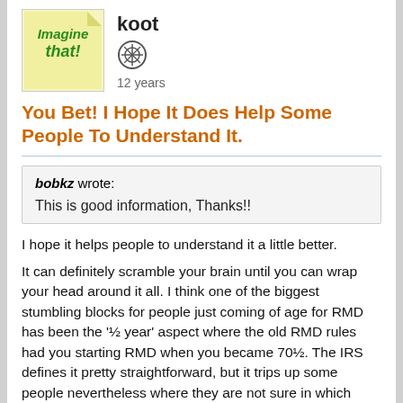[Figure (illustration): User avatar: yellow sticky note style image with 'Imagine That!' written in green handwritten-style font]
koot
12 years
You Bet! I Hope It Does Help Some People To Understand It.
bobkz wrote:
This is good information, Thanks!!
I hope it helps people to understand it a little better.
It can definitely scramble your brain until you can wrap your head around it all. I think one of the biggest stumbling blocks for people just coming of age for RMD has been the '½ year' aspect where the old RMD rules had you starting RMD when you became 70½. The IRS defines it pretty straightforward, but it trips up some people nevertheless where they are not sure in which year they must make their first withdrawal.